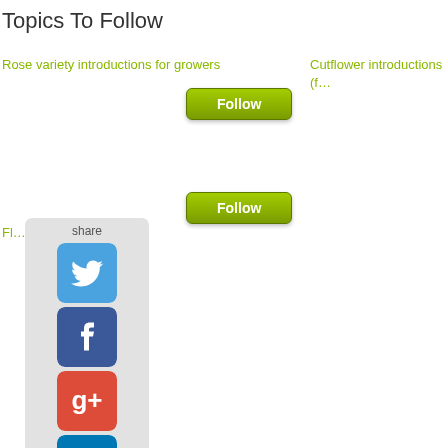Topics To Follow
Rose variety introductions for growers
Cutflower introductions (f…)
Fl… tradeshows
[Figure (screenshot): Social media share sidebar with Twitter, Facebook, Google+, LinkedIn, Pinterest icons and Contact/email button]
share
Contact